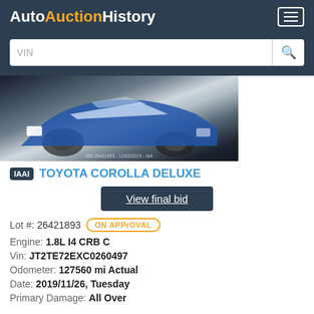AutoAuctionHistory
[Figure (photo): Front view of a damaged Toyota Corolla Deluxe, blue and white, at an auction yard. Watermark: 000.26421893 - 11/03/2019 - IAA]
IAAI TOYOTA COROLLA DELUXE
View final bid
Lot #: 26421893  ON APPROVAL
Engine: 1.8L I4 CRB C
Vin: JT2TE72EXC0260497
Odometer: 127560 mi Actual
Date: 2019/11/26, Tuesday
Primary Damage: All Over